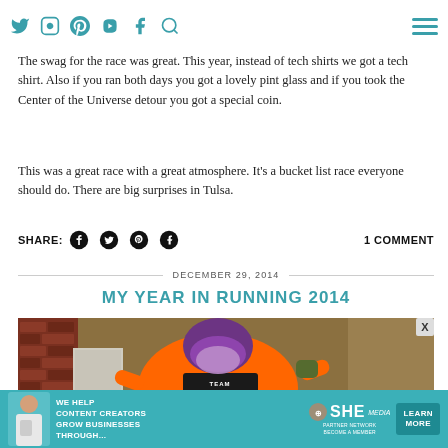Navigation bar with social icons (Twitter, Instagram, Pinterest, YouTube, Facebook, Search) and hamburger menu
The swag for the race was great. This year, instead of tech shirts we got a tech shirt. Also if you ran both days you got a lovely pint glass and if you took the Center of the Universe detour you got a special coin.
This was a great race with a great atmosphere. It's a bucket list race everyone should do. There are big surprises in Tulsa.
SHARE: [Facebook] [Twitter] [Pinterest] [Tumblr]   1 COMMENT
DECEMBER 29, 2014
MY YEAR IN RUNNING 2014
[Figure (photo): Photo of a runner wearing an orange jersey with a black bib reading 'TEAM CHOCOLATE MILK' and dark helmet/mask, standing near a brick wall]
[Figure (infographic): Advertisement banner: WE HELP CONTENT CREATORS GROW BUSINESSES THROUGH... with SHE PARTNER NETWORK BECOME A MEMBER logo and LEARN MORE button]